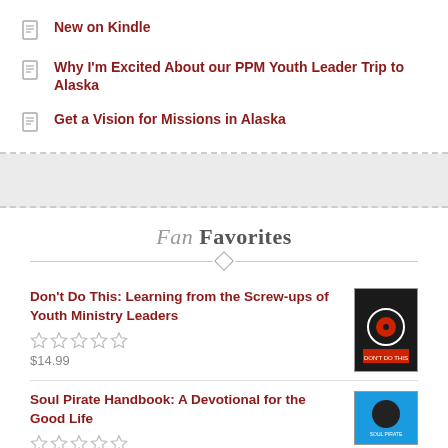New on Kindle
Why I'm Excited About our PPM Youth Leader Trip to Alaska
Get a Vision for Missions in Alaska
Fan Favorites
Don't Do This: Learning from the Screw-ups of Youth Ministry Leaders
$14.99
Soul Pirate Handbook: A Devotional for the Good Life